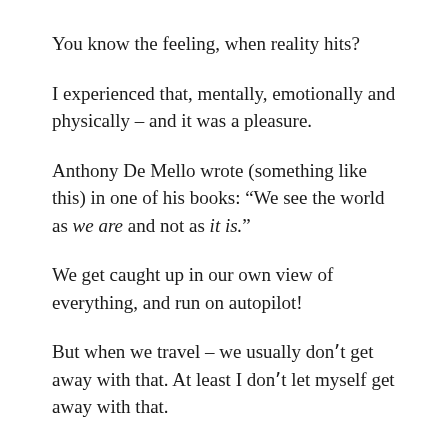You know the feeling, when reality hits?
I experienced that, mentally, emotionally and physically – and it was a pleasure.
Anthony De Mello wrote (something like this) in one of his books: “We see the world as we are and not as it is.”
We get caught up in our own view of everything, and run on autopilot!
But when we travel – we usually donʼt get away with that. At least I donʼt let myself get away with that.